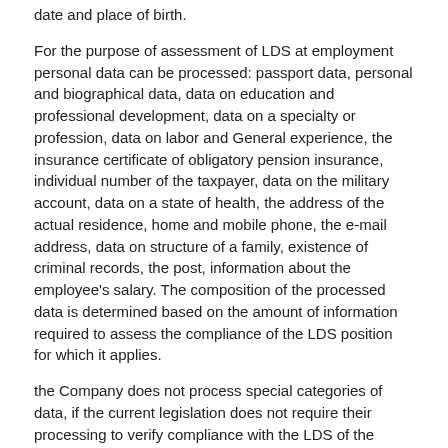date and place of birth.
For the purpose of assessment of LDS at employment personal data can be processed: passport data, personal and biographical data, data on education and professional development, data on a specialty or profession, data on labor and General experience, the insurance certificate of obligatory pension insurance, individual number of the taxpayer, data on the military account, data on a state of health, the address of the actual residence, home and mobile phone, the e-mail address, data on structure of a family, existence of criminal records, the post, information about the employee's salary. The composition of the processed data is determined based on the amount of information required to assess the compliance of the LDS position for which it applies.
the Company does not process special categories of data, if the current legislation does not require their processing to verify compliance with the LDS of the position for which it claims
7.2. The company may collect other personal data if it is necessary to provide LDS services and to comply with the requirements of the legislation of the Russian Federation in the field of personal data protection.
7.3. The company may also collect data related to the IP address